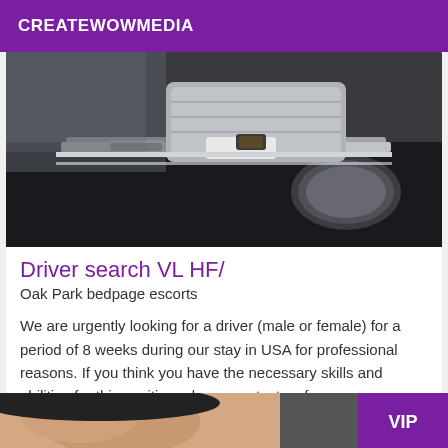CREATEWOWMEDIA
[Figure (photo): Close-up photo of a person in a suit sitting in a car, holding the car door handle, with the side mirror visible in the foreground.]
Driver search VL HF/
Oak Park bedpage escorts
We are urgently looking for a driver (male or female) for a period of 8 weeks during our stay in USA for professional reasons. If you think you have the necessary skills and abilities for this position, please contact us for more information. Thank you for your interest.
[Figure (photo): Partial photo at the bottom of the page showing a person's face, with a purple VIP badge in the bottom-right corner.]